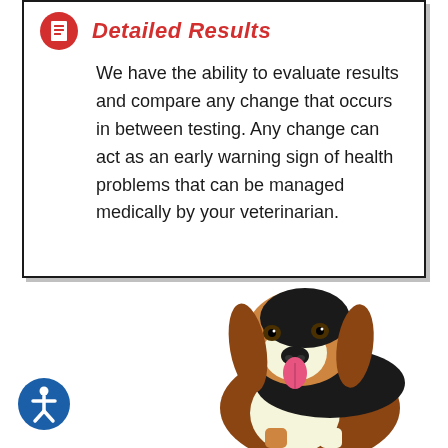Detailed Results
We have the ability to evaluate results and compare any change that occurs in between testing. Any change can act as an early warning sign of health problems that can be managed medically by your veterinarian.
[Figure (photo): Photo of a Basset Hound dog sitting, facing forward with tongue out]
[Figure (logo): Accessibility icon — blue circle with white person figure]